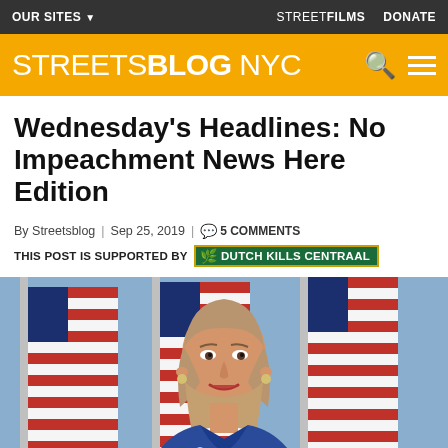OUR SITES ▼    STREETFILMS    DONATE
STREETSBLOG NYC
Wednesday's Headlines: No Impeachment News Here Edition
By Streetsblog | Sep 25, 2019 | 💬 5 COMMENTS
THIS POST IS SUPPORTED BY dutch kills CENTRAAL
[Figure (photo): Woman with shoulder-length blonde hair in a blue jacket speaking at a podium in front of American flags — appears to be a political press conference setting.]